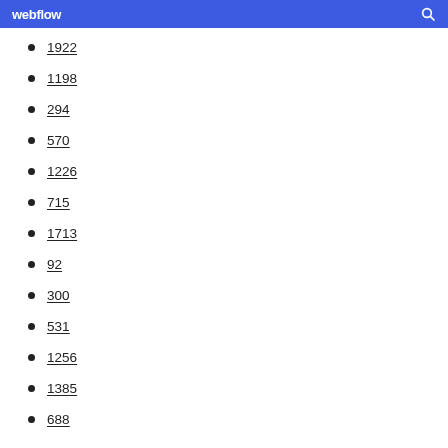webflow
1922
1198
294
570
1226
715
1713
92
300
531
1256
1385
688